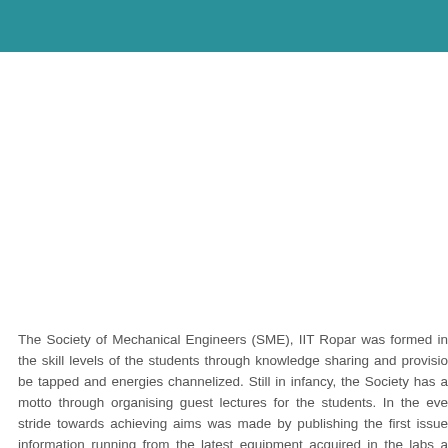[Figure (other): Teal/dark cyan decorative header bar spanning the full width of the page]
The Society of Mechanical Engineers (SME), IIT Ropar was formed in the skill levels of the students through knowledge sharing and provisio be tapped and energies channelized. Still in infancy, the Society has a motto through organising guest lectures for the students. In the eve stride towards achieving aims was made by publishing the first issue information running from the latest equipment acquired in the labs a various levels around the world and the upcoming competitions for